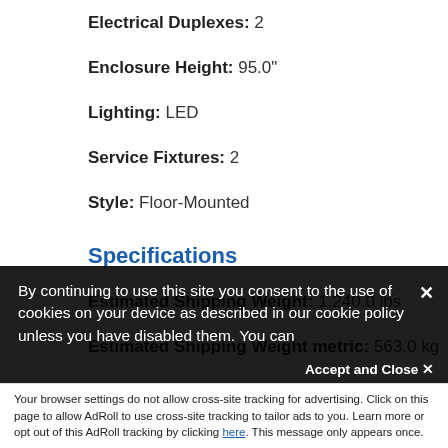Electrical Duplexes: 2
Enclosure Height: 95.0"
Lighting: LED
Service Fixtures: 2
Style: Floor-Mounted
Specifications
Estimated Shipping Weight: 1,240.0 lbs
Estimated Shipping Weight metric: 563.0 kg
Dimensions: 96.0" w x 55.7" d x 95.0" h
By continuing to use this site you consent to the use of cookies on your device as described in our cookie policy unless you have disabled them. You can
Your browser settings do not allow cross-site tracking for advertising. Click on this page to allow AdRoll to use cross-site tracking to tailor ads to you. Learn more or opt out of this AdRoll tracking by clicking here. This message only appears once.